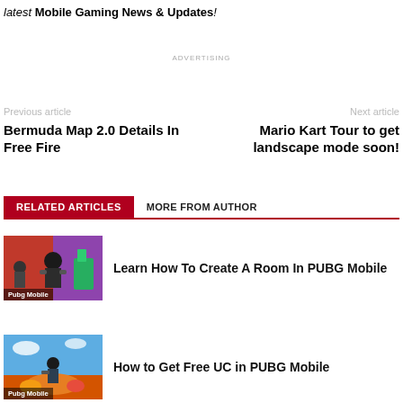latest Mobile Gaming News & Updates!
ADVERTISING
Previous article
Next article
Bermuda Map 2.0 Details In Free Fire
Mario Kart Tour to get landscape mode soon!
RELATED ARTICLES
MORE FROM AUTHOR
[Figure (photo): PUBG Mobile player with guns, colorful background. Label: Pubg Mobile]
Learn How To Create A Room In PUBG Mobile
[Figure (photo): PUBG Mobile player in battle scene with fire. Label: Pubg Mobile]
How to Get Free UC in PUBG Mobile